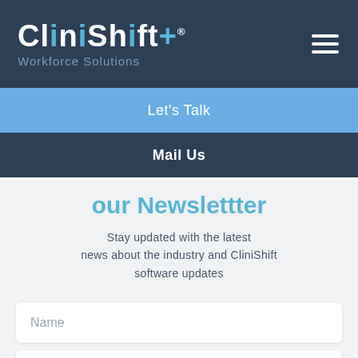[Figure (logo): CliniShift Workforce Solutions logo on dark navy background with hamburger menu icon]
Let's Talk
Mail Us
our Newslettter
Stay updated with the latest news about the industry and CliniShift software updates
Name
Email